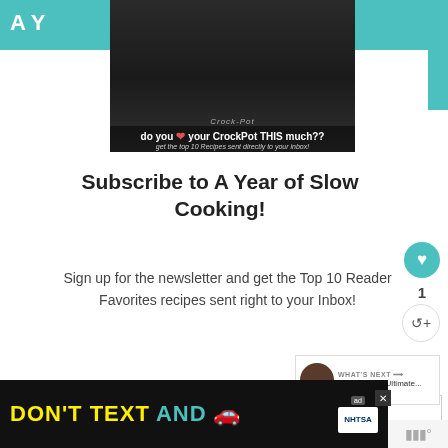A Y
[Figure (photo): A black CrockPot slow cooker being held with both hands. Overlay text reads: 'do you ❤ your CrockPot THIS much??' and 'get the top 10 Recipes sent directly to your inbox!']
Subscribe to A Year of Slow Cooking!
Sign up for the newsletter and get the Top 10 Reader Favorites recipes sent right to your Inbox!
Your Email...
SUBSCRIBE
[Figure (infographic): WHAT'S NEXT arrow label with thumbnail image and text: Slow Cooker Ultimate...]
[Figure (infographic): Ad banner: DON'T TEXT AND [car emoji] with NHTSA logo and close button]